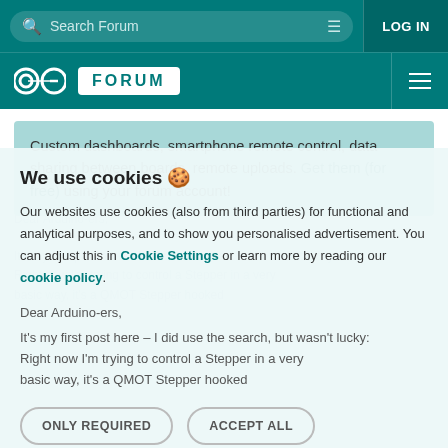Search Forum | LOG IN
[Figure (logo): Arduino Forum logo with infinity symbol and FORUM label on teal background with hamburger menu]
Custom dashboards, smartphone remote control, data sharing between boards, remote uploads. Get them (for free) using your forum account!
Stepper Motor Control
Using Arduino | Programming Questions
We use cookies 🍪
Our websites use cookies (also from third parties) for functional and analytical purposes, and to show you personalised advertisement. You can adjust this in Cookie Settings or learn more by reading our cookie policy.
Dear Arduino-ers,
It's my first post here – I did use the search, but wasn't lucky: Right now I'm trying to control a Stepper in a very basic way, it's a QMOT Stepper hooked
ONLY REQUIRED | ACCEPT ALL